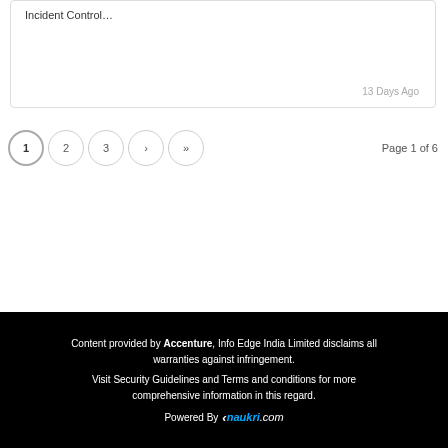Incident Control…
13 Days Ago
1  2  3  ›  »    Page 1 of 6
Content provided by Accenture, Info Edge India Limited disclaims all warranties against infringement. Visit Security Guidelines and Terms and conditions for more comprehensive information in this regard. Powered By naukri.com